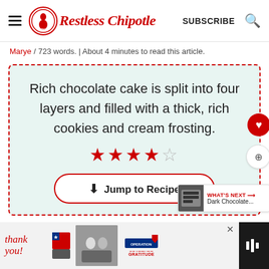Restless Chipotle — SUBSCRIBE
Marye / 723 words. | About 4 minutes to read this article.
Rich chocolate cake is split into four layers and filled with a thick, rich cookies and cream frosting.
★★★★☆
Jump to Recipe
[Figure (other): Operation Gratitude thank you advertisement banner at bottom of page]